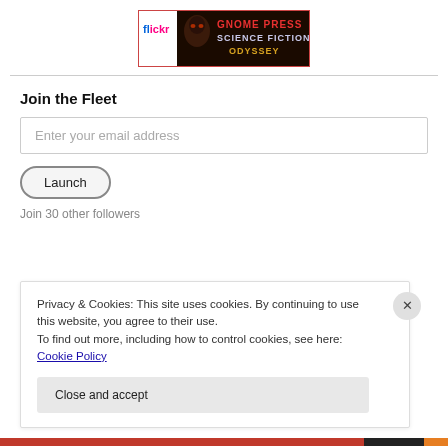[Figure (logo): Flickr logo banner with Gnome Press Science Fiction Odyssey text on dark background with masked figure]
Join the Fleet
Enter your email address
Launch
Join 30 other followers
Privacy & Cookies: This site uses cookies. By continuing to use this website, you agree to their use.
To find out more, including how to control cookies, see here: Cookie Policy
Close and accept